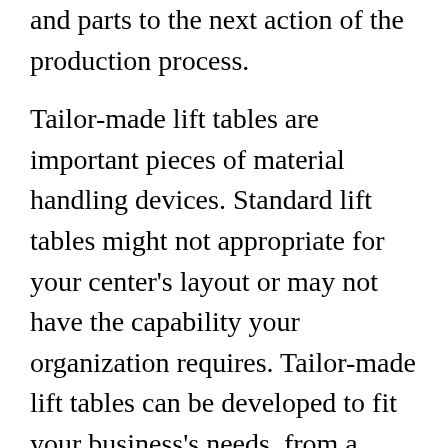and parts to the next action of the production process.
Tailor-made lift tables are important pieces of material handling devices. Standard lift tables might not appropriate for your center's layout or may not have the capability your organization requires. Tailor-made lift tables can be developed to fit your business's needs, from a bigger platform to increased safety features. They are likewise able to provide the flexibility and mobility you need. Order tables are also great for bulk materials managing.